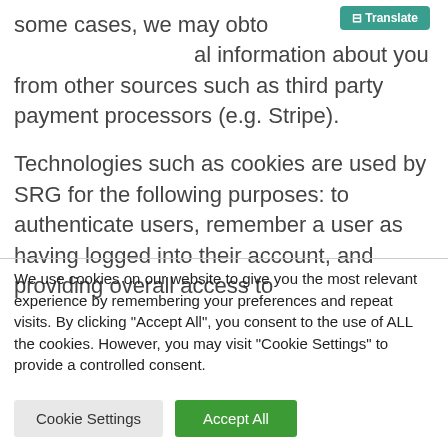some cases, we may obtain additional information about you from other sources such as third party payment processors (e.g. Stripe).
Technologies such as cookies are used by SRG for the following purposes: to authenticate users, remember a user as having logged into their account, and providing overall access to
We use cookies on our website to give you the most relevant experience by remembering your preferences and repeat visits. By clicking "Accept All", you consent to the use of ALL the cookies. However, you may visit "Cookie Settings" to provide a controlled consent.